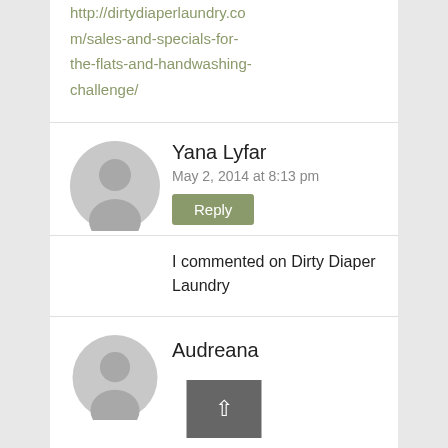http://dirtydiaperlaundry.com/sales-and-specials-for-the-flats-and-handwashing-challenge/
Yana Lyfar
May 2, 2014 at 8:13 pm
Reply
I commented on Dirty Diaper Laundry
Audreana